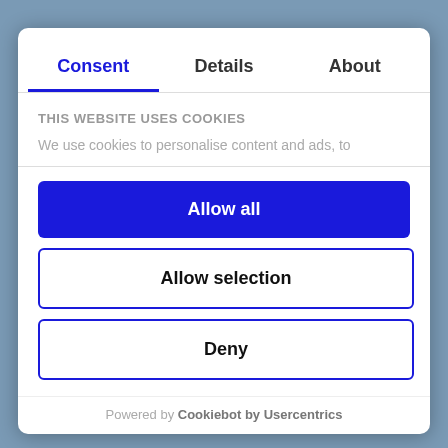[Figure (screenshot): Blurred background image of a city street scene]
Consent | Details | About
THIS WEBSITE USES COOKIES
We use cookies to personalise content and ads, to
Allow all
Allow selection
Deny
Powered by Cookiebot by Usercentrics